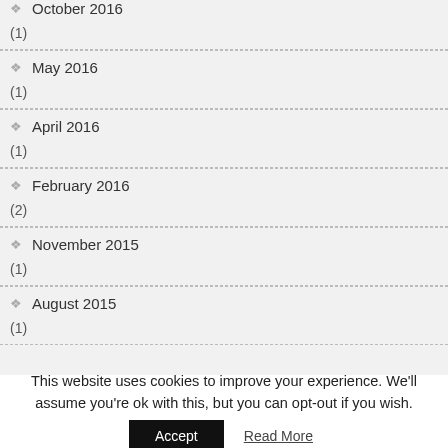October 2016
(1)
May 2016
(1)
April 2016
(1)
February 2016
(2)
November 2015
(1)
August 2015
(1)
This website uses cookies to improve your experience. We'll assume you're ok with this, but you can opt-out if you wish.